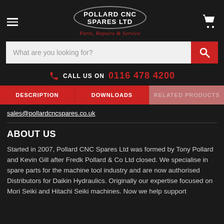[Figure (logo): Pollard CNC Spares Ltd oval logo with tagline 'Parts, Repairs & Service']
What are you looking for?
CALL US ON 0116 478 4200
DESCRIPTION | DOWNLOADS | RELATED PRODUCTS
sales@pollardcncspares.co.uk
ABOUT US
Started in 2007, Pollard CNC Spares Ltd was formed by Tony Pollard and Kevin Gill after Fredk Pollard & Co Ltd closed. We specialise in spare parts for the machine tool industry and are now authorised Distributors for Daikin Hydraulics. Originally our expertise focused on Mori Seiki and Hitachi Seiki machines. Now we help support